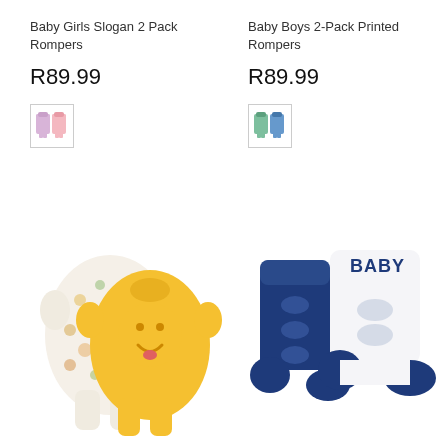Baby Girls Slogan 2 Pack Rompers
R89.99
[Figure (illustration): Small swatch thumbnail of pink/lilac baby rompers]
Baby Boys 2-Pack Printed Rompers
R89.99
[Figure (illustration): Small swatch thumbnail of blue/green baby rompers]
[Figure (photo): Two baby rompers: one floral print and one yellow with smiley face dog design]
[Figure (photo): Two baby socks: one navy blue with cloud pattern and one white with BABY text and navy heel/toe]